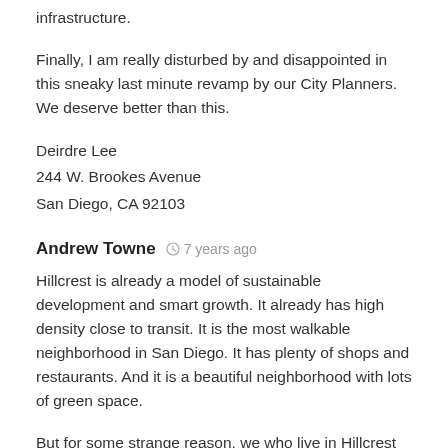infrastructure.
Finally, I am really disturbed by and disappointed in this sneaky last minute revamp by our City Planners. We deserve better than this.
Deirdre Lee
244 W. Brookes Avenue
San Diego, CA 92103
Andrew Towne   7 years ago
Hillcrest is already a model of sustainable development and smart growth. It already has high density close to transit. It is the most walkable neighborhood in San Diego. It has plenty of shops and restaurants. And it is a beautiful neighborhood with lots of green space.
But for some strange reason, we who live in Hillcrest are expected to give up our quality life when it is really the rest of sprawling San Diego that needs to change. We are expected